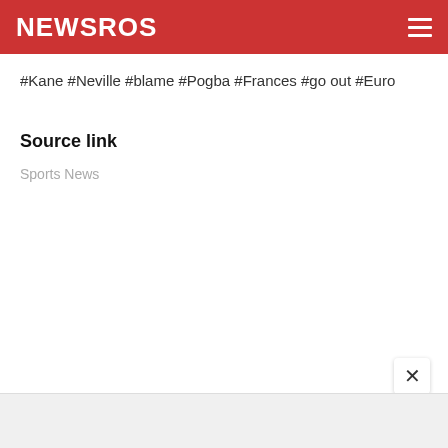NEWSROS
#Kane #Neville #blame #Pogba #Frances #go out #Euro
Source link
Sports News